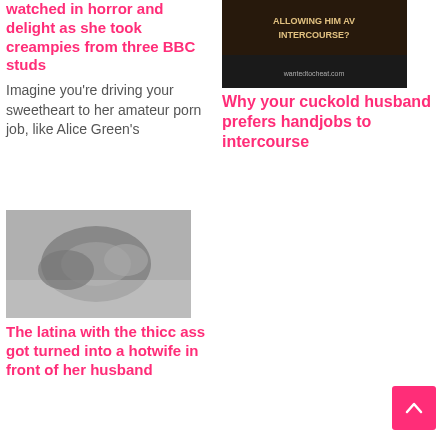watched in horror and delight as she took creampies from three BBC studs
Imagine you're driving your sweetheart to her amateur porn job, like Alice Green's
[Figure (photo): Dark background image with text 'ALLOWING HIM AV INTERCOURSE?' and website watermark]
Why your cuckold husband prefers handjobs to intercourse
[Figure (photo): Black and white photo of a woman lying down]
The latina with the thicc ass got turned into a hotwife in front of her husband